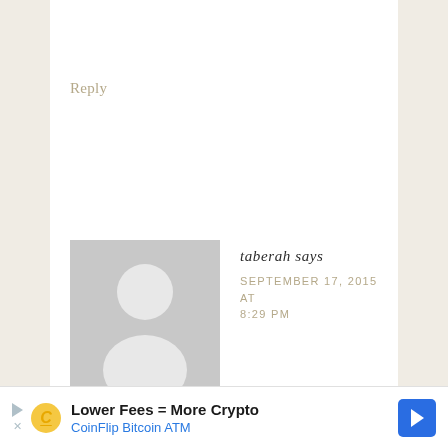Reply
[Figure (illustration): Default grey avatar silhouette of a person]
taberah says
SEPTEMBER 17, 2015 AT 8:29 PM
Hi Lucy,
What a fab shop! My fave pumpkin, hands down, has got to be the Velvet Pumpkin-Petite-Antique Gold! Thanks so much for offering this giveaway
Lower Fees = More Crypto
CoinFlip Bitcoin ATM